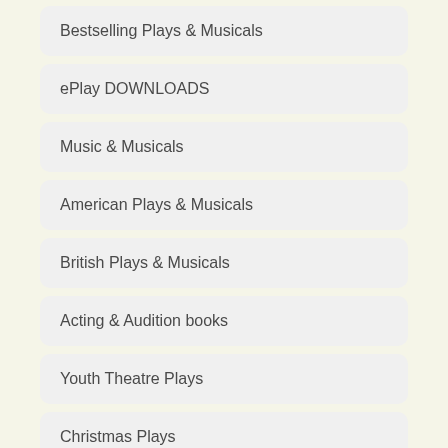Bestselling Plays & Musicals
ePlay DOWNLOADS
Music & Musicals
American Plays & Musicals
British Plays & Musicals
Acting & Audition books
Youth Theatre Plays
Christmas Plays
Dance books